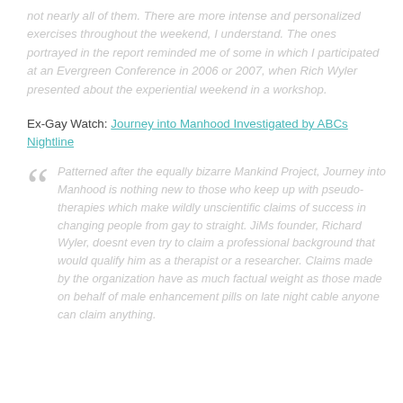not nearly all of them. There are more intense and personalized exercises throughout the weekend, I understand. The ones portrayed in the report reminded me of some in which I participated at an Evergreen Conference in 2006 or 2007, when Rich Wyler presented about the experiential weekend in a workshop.
Ex-Gay Watch: Journey into Manhood Investigated by ABCs Nightline
Patterned after the equally bizarre Mankind Project, Journey into Manhood is nothing new to those who keep up with pseudo-therapies which make wildly unscientific claims of success in changing people from gay to straight. JiMs founder, Richard Wyler, doesnt even try to claim a professional background that would qualify him as a therapist or a researcher. Claims made by the organization have as much factual weight as those made on behalf of male enhancement pills on late night cable anyone can claim anything.